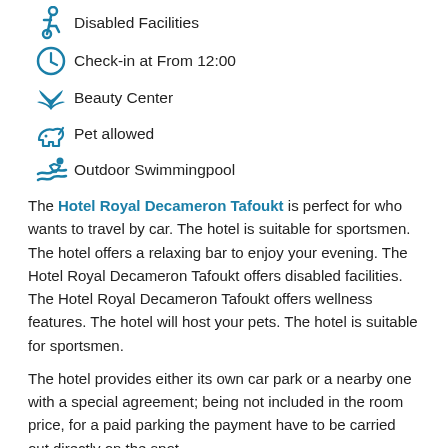Disabled Facilities
Check-in at From 12:00
Beauty Center
Pet allowed
Outdoor Swimmingpool
The Hotel Royal Decameron Tafoukt is perfect for who wants to travel by car. The hotel is suitable for sportsmen. The hotel offers a relaxing bar to enjoy your evening. The Hotel Royal Decameron Tafoukt offers disabled facilities. The Hotel Royal Decameron Tafoukt offers wellness features. The hotel will host your pets. The hotel is suitable for sportsmen.
The hotel provides either its own car park or a nearby one with a special agreement; being not included in the room price, for a paid parking the payment have to be carried out directly on the spot.
Rooms facilities
Television
Direct Dial Telephone